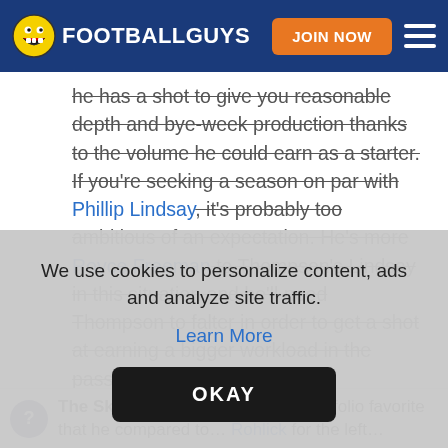FOOTBALLGUYS — JOIN NOW
he has a shot to give you reasonable depth and bye-week production thanks to the volume he could earn as a starter. If you're seeking a season on par with Phillip Lindsay, it's probably too ambitious of an expectation. He's more Royce Freeman to Thompson's Lindsay in this situation and he'll need Thompson to falter in order to get a shot at earning a bigger workload in the passing game.
We use cookies to personalize content, ads and analyze site traffic.
Learn More
OKAY
The Skinny: A Rookie Scouting Portfolio favorite that he compared to...